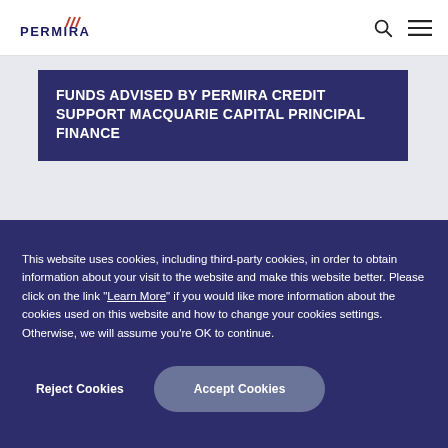PERMIRA
FUNDS ADVISED BY PERMIRA CREDIT SUPPORT MACQUARIE CAPITAL PRINCIPAL FINANCE
This website uses cookies, including third-party cookies, in order to obtain information about your visit to the website and make this website better. Please click on the link "Learn More" if you would like more information about the cookies used on this website and how to change your cookies settings. Otherwise, we will assume you're OK to continue.
Reject Cookies | Accept Cookies